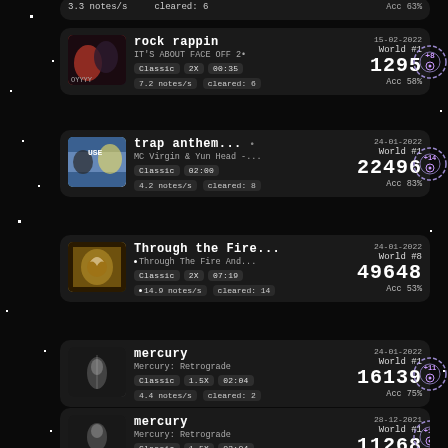rock rappin | IT'S ABOUT FACE OFF 2 | Classic 2X 00:35 | 7.2 notes/s | cleared: 6 | 15-02-2022 | World #1 | 1295 | Acc 58% | +8
trap anthem... | MC Virgin & Yun Head -... | Classic 02:00 | 4.2 notes/s | cleared: 8 | 24-01-2022 | World #1 | 22496 | Acc 83% | +14
Through the Fire... | Through The Fire And... | Classic 2X 07:19 | 14.9 notes/s | cleared: 14 | 24-01-2022 | World #8 | 49648 | Acc 53%
mercury | Mercury: Retrograde | Classic 1.5X 02:04 | 4.4 notes/s | cleared: 2 | 24-01-2022 | World #1 | 16139 | Acc 75% | +11
mercury | Mercury: Retrograde | Classic 1.5X 02:04 | 4.4 notes/s | cleared: 2 | 28-12-2021 | World #1 | 11268 | Acc 81% | +11